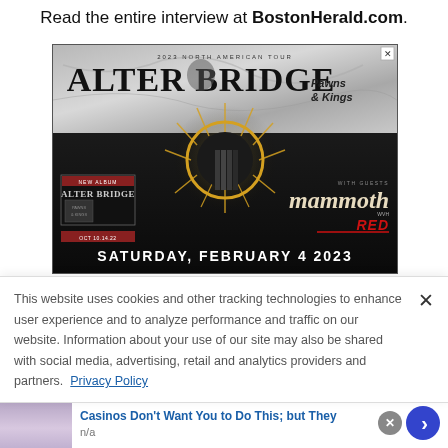Read the entire interview at BostonHerald.com.
[Figure (photo): Alter Bridge 2023 North American Tour advertisement for 'Pawns & Kings' album, featuring band imagery with skulls and gears, with guests Mammoth WVH and RED, dated Saturday, February 4 2023]
This website uses cookies and other tracking technologies to enhance user experience and to analyze performance and traffic on our website. Information about your use of our site may also be shared with social media, advertising, retail and analytics providers and partners. Privacy Policy
Casinos Don't Want You to Do This; but They
n/a